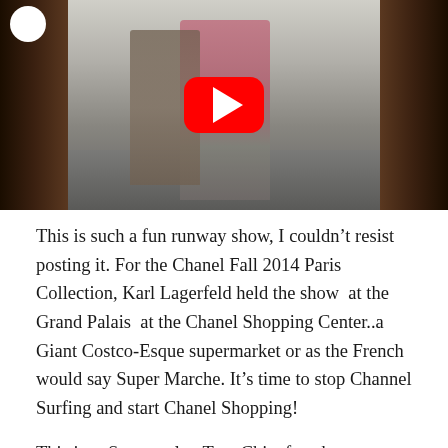[Figure (screenshot): YouTube video thumbnail showing a fashion runway show inside a supermarket (Chanel Fall 2014 Paris Collection). Two models walk down a supermarket aisle with shelves of products on either side. A large red YouTube play button is centered on the image.]
This is such a fun runway show, I couldn't resist posting it. For the Chanel Fall 2014 Paris Collection, Karl Lagerfeld held the show  at the Grand Palais  at the Chanel Shopping Center..a Giant Costco-Esque supermarket or as the French would say Super Marche. It's time to stop Channel Surfing and start Chanel Shopping!
This is  a Spectacular, Tres-Chic, fun show to watch. The Highlights that really stood out for me, other than the